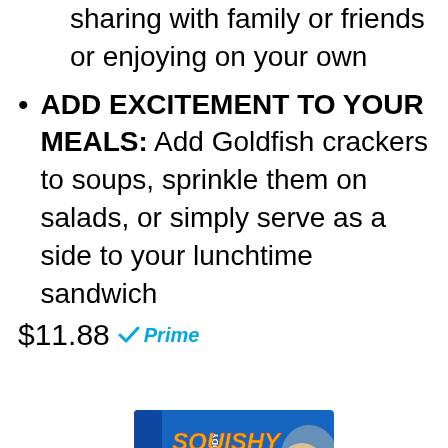sharing with family or friends or enjoying on your own
ADD EXCITEMENT TO YOUR MEALS: Add Goldfish crackers to soups, sprinkle them on salads, or simply serve as a side to your lunchtime sandwich
$11.88 Prime
[Figure (screenshot): Amazon Buy on Amazon button with Amazon logo]
[Figure (photo): Squishy Human Body product box showing '21 Removable' parts, blue box with orange/yellow text and anatomical figure]